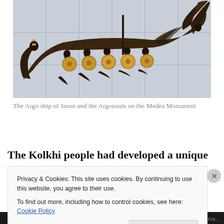[Figure (photo): A relief sculpture of the Argo ship with Jason and the Argonauts, showing warriors with golden shields and helmets on a dark bronze-colored ship, mounted on a light marble-tiled wall.]
The Argo ship of Jason and the Argonauts on the Medea Monument
The Kolkhi people had developed a unique way to
Privacy & Cookies: This site uses cookies. By continuing to use this website, you agree to their use.
To find out more, including how to control cookies, see here: Cookie Policy